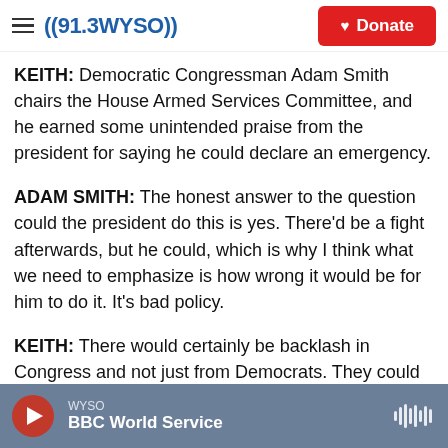((91.3 WYSO)) | Donate
KEITH: Democratic Congressman Adam Smith chairs the House Armed Services Committee, and he earned some unintended praise from the president for saying he could declare an emergency.
ADAM SMITH: The honest answer to the question could the president do this is yes. There'd be a fight afterwards, but he could, which is why I think what we need to emphasize is how wrong it would be for him to do it. It's bad policy.
KEITH: There would certainly be backlash in Congress and not just from Democrats. They could
WYSO | BBC World Service